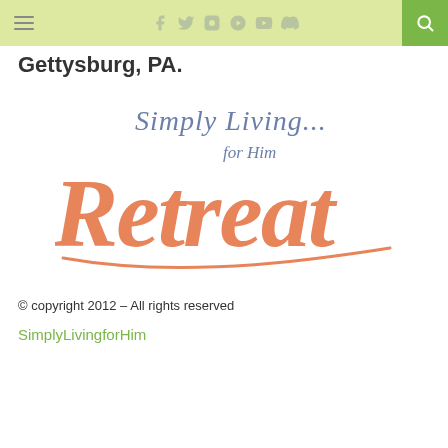Gettysburg, PA.
[Figure (logo): Simply Living... for Him Retreat logo in script fonts, orange and slate blue colors]
© copyright 2012 – All rights reserved
SimplyLivingforHim